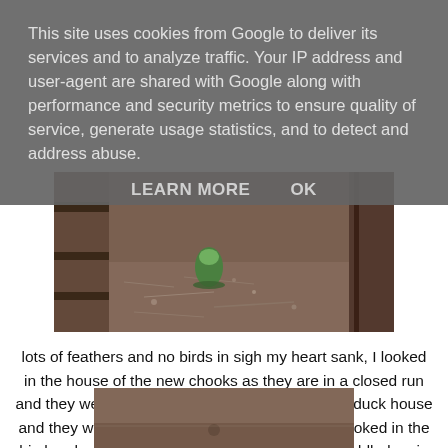This site uses cookies from Google to deliver its services and to analyze traffic. Your IP address and user-agent are shared with Google along with performance and security metrics to ensure quality of service, generate usage statistics, and to detect and address abuse.
LEARN MORE    OK
[Figure (photo): Photo of a chicken coop interior floor showing scattered feathers and dirt, with wooden structures and a green water feeder visible.]
lots of feathers and no birds in sigh my heart sank, I looked in the house of the new chooks as they are in a closed run and they were all huddled together, looked in the duck house and they were all in there huddled up together, looked in the big hen house and there was only 2 residents huddled up in the same nest box, one was missing, I looked in the bachelor pad were Gizmo resides and he was in there and with him was the missing hen covered in blood, I lifted her out and she had a lacerations on her back, I gave her a clean up and sprayed her purple antiseptic
[Figure (photo): Partial photo visible at bottom of page, appears to show ground/dirt area, likely continuation of chicken coop or yard imagery.]